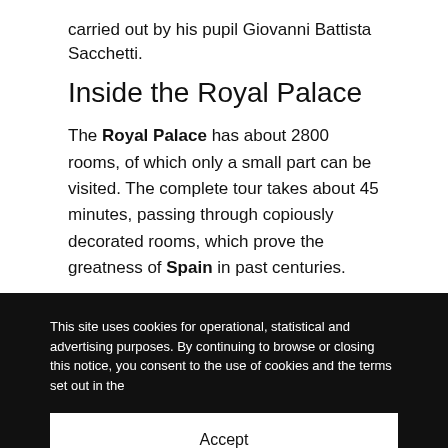carried out by his pupil Giovanni Battista Sacchetti.
Inside the Royal Palace
The Royal Palace has about 2800 rooms, of which only a small part can be visited. The complete tour takes about 45 minutes, passing through copiously decorated rooms, which prove the greatness of Spain in past centuries.
This site uses cookies for operational, statistical and advertising purposes. By continuing to browse or closing this notice, you consent to the use of cookies and the terms set out in the
Accept
Functional cookies only